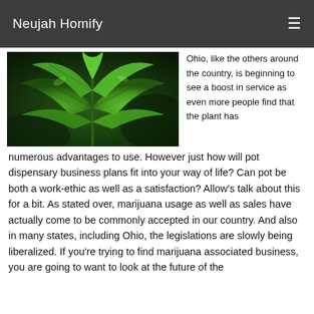Neujah Homify
[Figure (photo): Close-up photo of green cannabis/marijuana plant leaves against dark background]
Ohio, like the others around the country, is beginning to see a boost in service as even more people find that the plant has numerous advantages to use. However just how will pot dispensary business plans fit into your way of life? Can pot be both a work-ethic as well as a satisfaction? Allow's talk about this for a bit. As stated over, marijuana usage as well as sales have actually come to be commonly accepted in our country. And also in many states, including Ohio, the legislations are slowly being liberalized. If you're trying to find marijuana associated business, you are going to want to look at the future of the